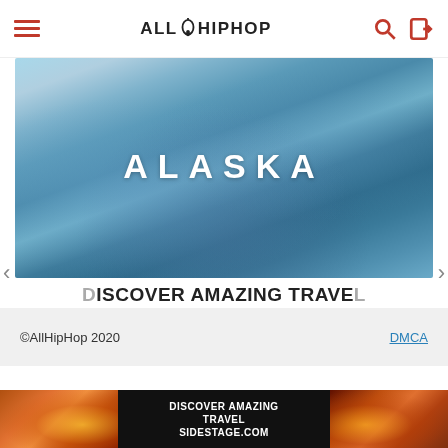ALLHIPHOP
[Figure (photo): Glacier image with large white text reading ALASKA, navigation arrows on left and right]
DISCOVER AMAZING TRAVEL SIDESTAGE.COM
©AllHipHop 2020    DMCA
[Figure (photo): Bottom advertisement banner showing sunset over canyon cliffs with text DISCOVER AMAZING TRAVEL SIDESTAGE.COM on dark background]